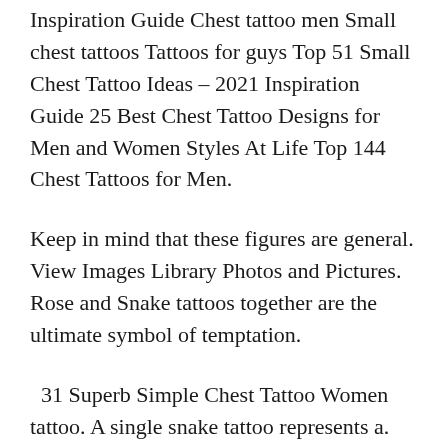Inspiration Guide Chest tattoo men Small chest tattoos Tattoos for guys Top 51 Small Chest Tattoo Ideas – 2021 Inspiration Guide 25 Best Chest Tattoo Designs for Men and Women Styles At Life Top 144 Chest Tattoos for Men.
Keep in mind that these figures are general. View Images Library Photos and Pictures. Rose and Snake tattoos together are the ultimate symbol of temptation.
31 Superb Simple Chest Tattoo Women tattoo. A single snake tattoo represents a. Well If you are planning to have a Snake Rose Tattoo on your chest.